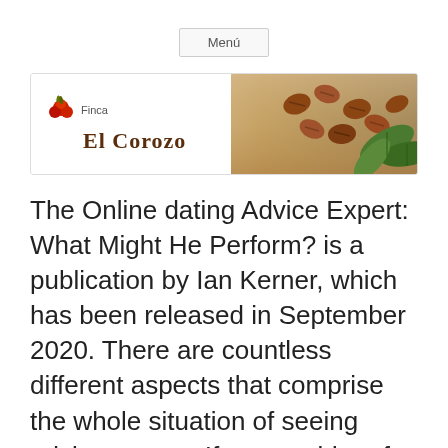Menú
[Figure (logo): Finca El Corozo banner logo with coffee cherries and beans on wooden background with green leaves]
The Online dating Advice Expert: What Might He Perform? is a publication by Ian Kerner, which has been released in September 2020. There are countless different aspects that comprise the whole situation of seeing advice master. If you could prefer to find a dude who will be able to understand your problems, whilst also assisting you get the ideal partner to turn things around, then this is the book